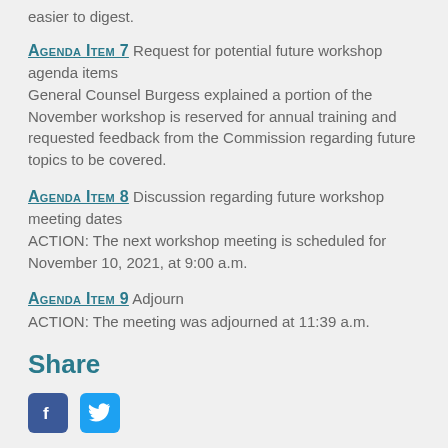easier to digest.
Agenda Item 7 Request for potential future workshop agenda items
General Counsel Burgess explained a portion of the November workshop is reserved for annual training and requested feedback from the Commission regarding future topics to be covered.
Agenda Item 8 Discussion regarding future workshop meeting dates
ACTION: The next workshop meeting is scheduled for November 10, 2021, at 9:00 a.m.
Agenda Item 9 Adjourn
ACTION: The meeting was adjourned at 11:39 a.m.
Share
[Figure (other): Facebook and Twitter social media share icons]